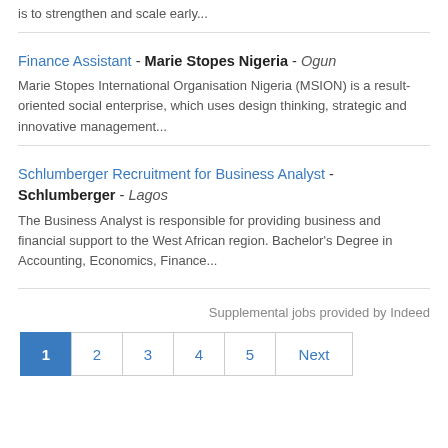is to strengthen and scale early...
Finance Assistant - Marie Stopes Nigeria - Ogun
Marie Stopes International Organisation Nigeria (MSION) is a result-oriented social enterprise, which uses design thinking, strategic and innovative management...
Schlumberger Recruitment for Business Analyst - Schlumberger - Lagos
The Business Analyst is responsible for providing business and financial support to the West African region. Bachelor's Degree in Accounting, Economics, Finance...
Supplemental jobs provided by Indeed
1 2 3 4 5 Next